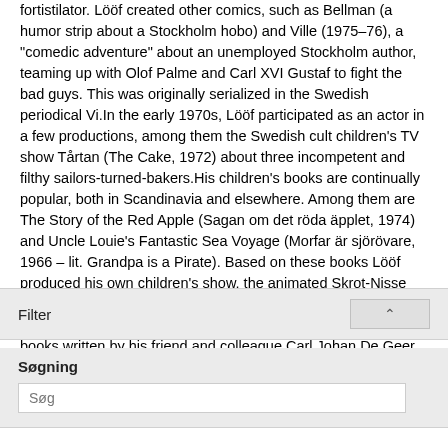fortistilator. Lööf created other comics, such as Bellman (a humor strip about a Stockholm hobo) and Ville (1975–76), a "comedic adventure" about an unemployed Stockholm author, teaming up with Olof Palme and Carl XVI Gustaf to fight the bad guys. This was originally serialized in the Swedish periodical Vi.In the early 1970s, Lööf participated as an actor in a few productions, among them the Swedish cult children's TV show Tårtan (The Cake, 1972) about three incompetent and filthy sailors-turned-bakers.His children's books are continually popular, both in Scandinavia and elsewhere. Among them are The Story of the Red Apple (Sagan om det röda äpplet, 1974) and Uncle Louie's Fantastic Sea Voyage (Morfar är sjörövare, 1966 – lit. Grandpa is a Pirate). Based on these books Lööf produced his own children's show, the animated Skrot-Nisse och Hans Vänner (Scrap-Nisse and his Friends), for Swedish National Television in 1985. He has also illustrated children's books written by his friend and colleague Carl Johan De Geer.(Wikipedia a.o)
Filter
Søgning
Søg